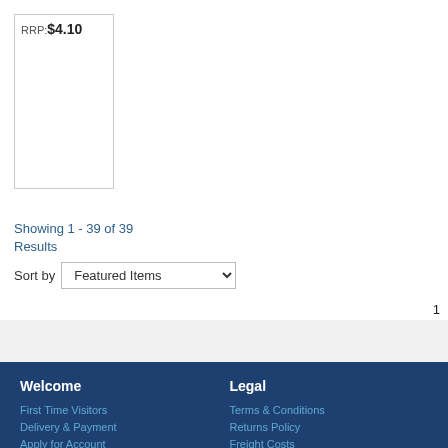RRP:$4.10
Showing 1 - 39 of 39 Results
Sort by  Featured Items
1
Welcome
First Time Visitors
Delivery & Payment
Apply for Account
About Us
Legal
Terms & Conditions
Returns Policy
Freight Costs